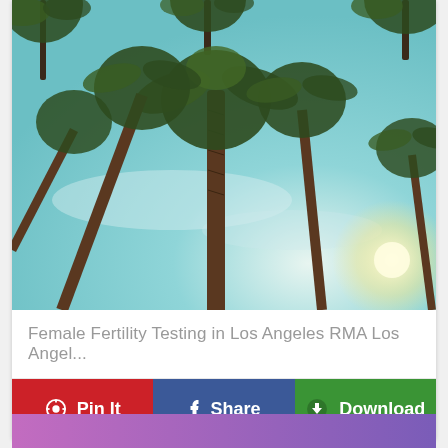[Figure (photo): Upward view of tall palm trees against a blue sky with sunlight, taken from below looking up]
Female Fertility Testing in Los Angeles RMA Los Angel...
Pin It
Share
Download